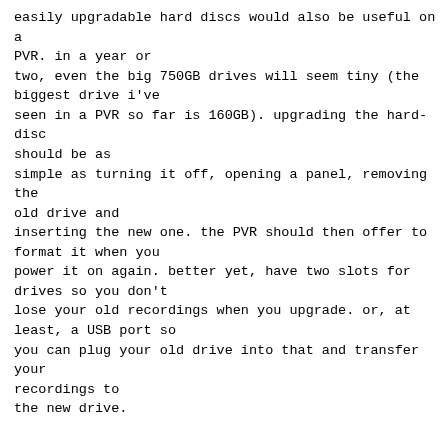easily upgradable hard discs would also be useful on a PVR. in a year or two, even the big 750GB drives will seem tiny (the biggest drive i've seen in a PVR so far is 160GB). upgrading the hard-disc should be as simple as turning it off, opening a panel, removing the old drive and inserting the new one. the PVR should then offer to format it when you power it on again. better yet, have two slots for drives so you don't lose your old recordings when you upgrade. or, at least, a USB port so you can plug your old drive into that and transfer your recordings to the new drive.
> I suspect the most confusing aspect of buying a new TV is whether to
> choose a CRT, LCD, plasma or rear projection set...
in terms of electricity consumption, heat generated, quality of picture, and price, LCD is emerging as the clear winner.
i t t e r s o l i t e r a r y m a g a z i n e 1 f f 1 e k 1 t h